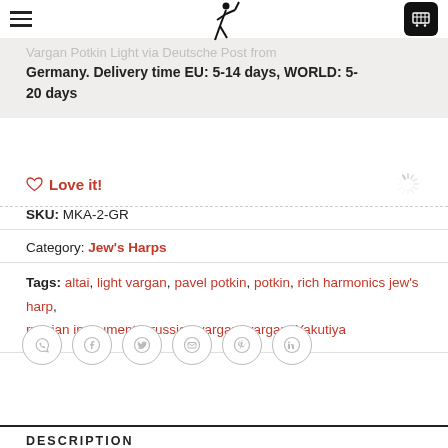Vargan Potkin Light via Deutsche Post from Germany. Delivery time EU: 5-14 days, WORLD: 5-20 days
Love it!
SKU: MKA-2-GR
Category: Jew's Harps
Tags: altai, light vargan, pavel potkin, potkin, rich harmonics jew's harp, russian instruments, russian vargan, vargan, Yakutiya
[Figure (other): Social share buttons: WhatsApp, Facebook, Twitter, Email, Pinterest, LinkedIn]
DESCRIPTION